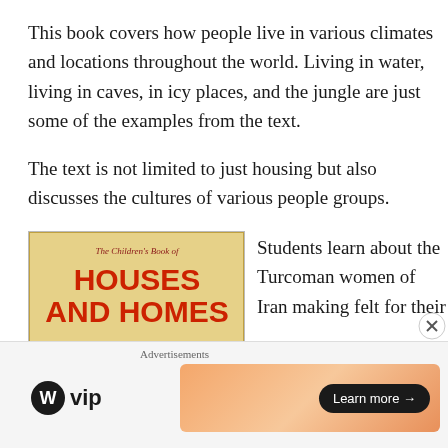This book covers how people live in various climates and locations throughout the world. Living in water, living in caves, in icy places, and the jungle are just some of the examples from the text.
The text is not limited to just housing but also discusses the cultures of various people groups.
[Figure (photo): Book cover of 'The Children's Book of Houses and Homes' with red title text on a golden/tan background, showing an illustration of people and structures]
Students learn about the Turcoman women of Iran making felt for their
Advertisements
[Figure (logo): WordPress VIP logo with circular W icon next to the text 'vip']
[Figure (infographic): Orange gradient advertisement banner with a 'Learn more →' button]